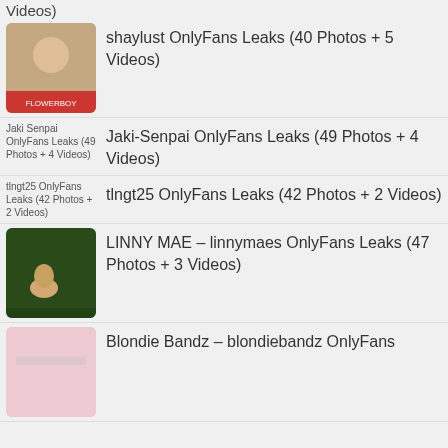Videos)
shaylust OnlyFans Leaks (40 Photos + 5 Videos)
Jaki-Senpai OnlyFans Leaks (49 Photos + 4 Videos)
tlngt25 OnlyFans Leaks (42 Photos + 2 Videos)
LINNY MAE – linnymaes OnlyFans Leaks (47 Photos + 3 Videos)
Blondie Bandz – blondiebandz OnlyFans